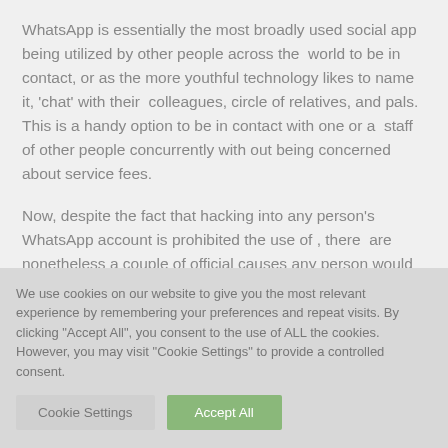WhatsApp is essentially the most broadly used social app being utilized by other people across the world to be in contact, or as the more youthful technology likes to name it, 'chat' with their colleagues, circle of relatives, and pals. This is a handy option to be in contact with one or a staff of other people concurrently with out being concerned about service fees.
Now, despite the fact that hacking into any person's WhatsApp account is prohibited the use of , there are nonetheless a couple of official causes any person would
We use cookies on our website to give you the most relevant experience by remembering your preferences and repeat visits. By clicking "Accept All", you consent to the use of ALL the cookies. However, you may visit "Cookie Settings" to provide a controlled consent.